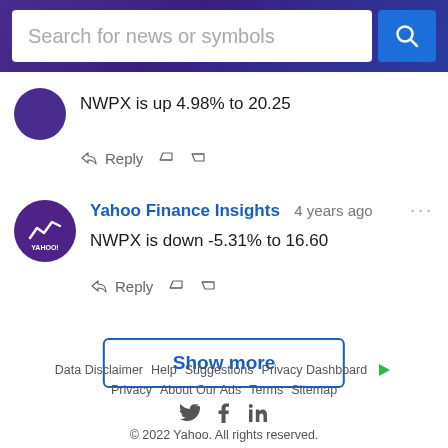Search for news or symbols
NWPX is up 4.98% to 20.25
Reply
Yahoo Finance Insights   4 years ago
NWPX is down -5.31% to 16.60
Reply
Show more
Data Disclaimer  Help  Suggestions  Privacy Dashboard  Privacy  About Our Ads  Terms  Sitemap
© 2022 Yahoo. All rights reserved.